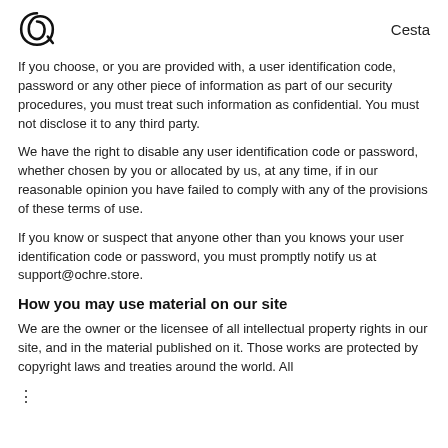Cesta
If you choose, or you are provided with, a user identification code, password or any other piece of information as part of our security procedures, you must treat such information as confidential. You must not disclose it to any third party.
We have the right to disable any user identification code or password, whether chosen by you or allocated by us, at any time, if in our reasonable opinion you have failed to comply with any of the provisions of these terms of use.
If you know or suspect that anyone other than you knows your user identification code or password, you must promptly notify us at support@ochre.store.
How you may use material on our site
We are the owner or the licensee of all intellectual property rights in our site, and in the material published on it. Those works are protected by copyright laws and treaties around the world. All